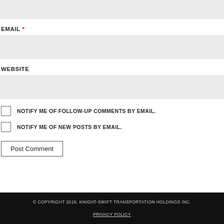[Figure (other): Gray input field at top of page (name/text field)]
EMAIL *
[Figure (other): Gray input field for email]
WEBSITE
[Figure (other): Gray input field for website]
NOTIFY ME OF FOLLOW-UP COMMENTS BY EMAIL.
NOTIFY ME OF NEW POSTS BY EMAIL.
Post Comment
© COPYRIGHT 2018, KNIGHT-SWIFT TRANSPORTATION HOLDINGS INC.
PRIVACY POLICY